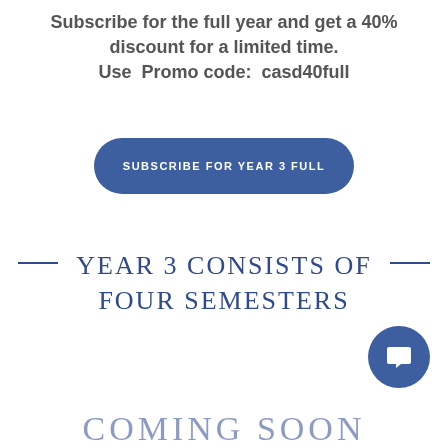Subscribe for the full year and get a 40% discount for a limited time.
Use  Promo code:  casd40full
[Figure (other): Blue rounded button labeled SUBSCRIBE FOR YEAR 3 FULL]
YEAR 3 CONSISTS OF FOUR SEMESTERS
[Figure (other): Blue circular chat/message icon button in bottom right]
COMING SOON